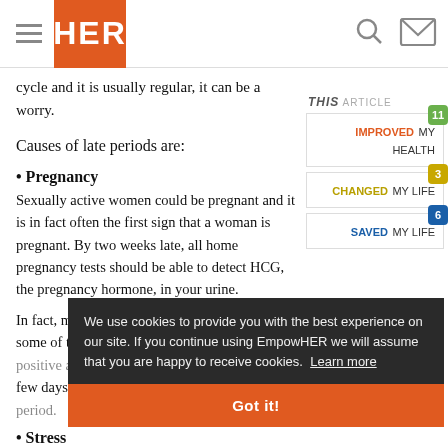HER
cycle and it is usually regular, it can be a worry.
Causes of late periods are:
• Pregnancy
Sexually active women could be pregnant and it is in fact often the first sign that a woman is pregnant. By two weeks late, all home pregnancy tests should be able to detect HCG, the pregnancy hormone, in your urine.
In fact, most can... and some of the newer early detection tests can test positive a few days before you would have had your period.
• Stress
If you've had a busy schedule or a family trauma, it can
[Figure (infographic): THIS ARTICLE sidebar with three buttons: IMPROVED MY HEALTH (badge 11), CHANGED MY LIFE (badge 3), SAVED MY LIFE (badge 6)]
We use cookies to provide you with the best experience on our site. If you continue using EmpowHER we will assume that you are happy to receive cookies. Learn more
Got it!